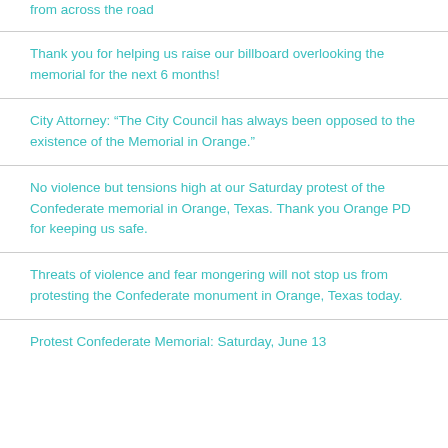from across the road
Thank you for helping us raise our billboard overlooking the memorial for the next 6 months!
City Attorney: “The City Council has always been opposed to the existence of the Memorial in Orange.”
No violence but tensions high at our Saturday protest of the Confederate memorial in Orange, Texas. Thank you Orange PD for keeping us safe.
Threats of violence and fear mongering will not stop us from protesting the Confederate monument in Orange, Texas today.
Protest Confederate Memorial: Saturday, June 13